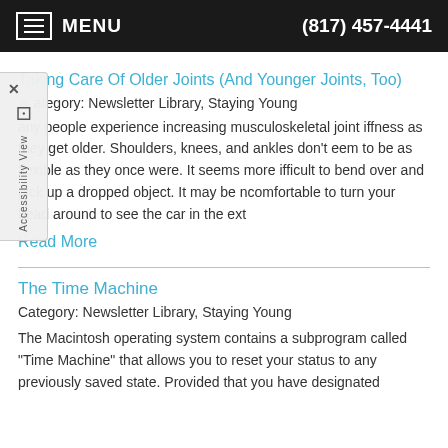MENU  (817) 457-4441
Taking Care Of Older Joints (And Younger Joints, Too)
Category: Newsletter Library, Staying Young
Many people experience increasing musculoskeletal joint stiffness as they get older. Shoulders, knees, and ankles don't seem to be as flexible as they once were. It seems more difficult to bend over and pick up a dropped object. It may be uncomfortable to turn your head around to see the car in the next
Read More
The Time Machine
Category: Newsletter Library, Staying Young
The Macintosh operating system contains a subprogram called "Time Machine" that allows you to reset your status to any previously saved state. Provided that you have designated